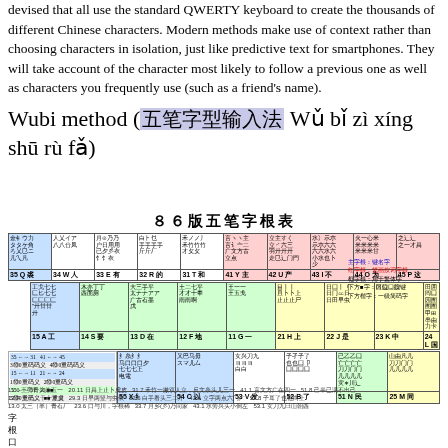devised that all use the standard QWERTY keyboard to create the thousands of different Chinese characters. Modern methods make use of context rather than choosing characters in isolation, just like predictive text for smartphones. They will take account of the character most likely to follow a previous one as well as characters you frequently use (such as a friend's name).
Wubi method (五笔字型输入法 Wǔ bǐ zì xíng shū rù fǎ)
[Figure (other): Wubi method chart showing 86版五笔字根表 - keyboard layout table with Chinese character roots organized by key positions (Q through L, A through P rows), with colored cells indicating different categories. Below the main table are additional character combination examples and footnote legend.]
11.6 王旁青头兼五一 20.11 日具上止卜虎皮 31.7 禾竹一撇双人立，反文条头儿三一 41.1 言文方广在四一 51.8 已半已满不出己 12.F 土土二干十才甫 29.3 日早两竖与虫依 32.5 白手看头三二斤 42.6 立字两点六门广 52.8 子耳了也框向上 13.0 太三（羊）青石厂 23.6 口与川，字根稀 33.7 月乡(彡)乃同家 43.1 水旁兴头小倒左 53.1 女刀九臼山朝西